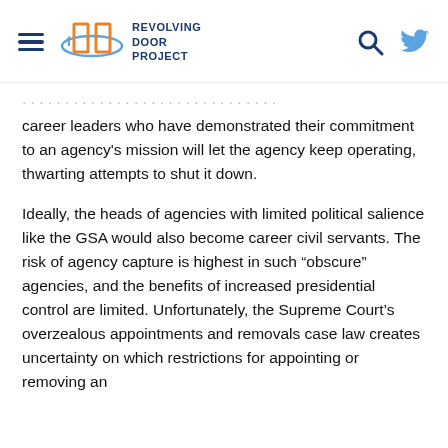Revolving Door Project
career leaders who have demonstrated their commitment to an agency's mission will let the agency keep operating, thwarting attempts to shut it down.
Ideally, the heads of agencies with limited political salience like the GSA would also become career civil servants. The risk of agency capture is highest in such “obscure” agencies, and the benefits of increased presidential control are limited. Unfortunately, the Supreme Court’s overzealous appointments and removals case law creates uncertainty on which restrictions for appointing or removing an